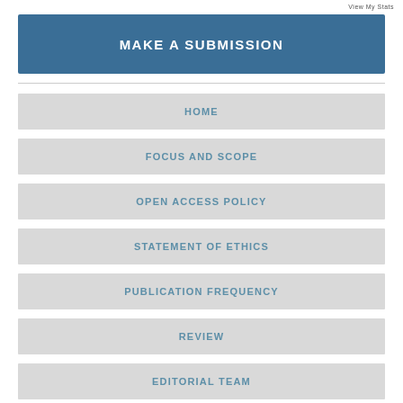View My Stats
MAKE A SUBMISSION
HOME
FOCUS AND SCOPE
OPEN ACCESS POLICY
STATEMENT OF ETHICS
PUBLICATION FREQUENCY
REVIEW
EDITORIAL TEAM